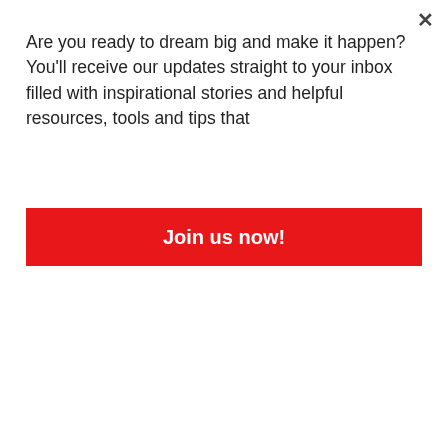Are you ready to dream big and make it happen? You'll receive our updates straight to your inbox filled with inspirational stories and helpful resources, tools and tips that
Join us now!
CULTURE
ENTERTAINMENT
FASHION
FEATURED POSTS
FOCUS ON
FOOD
LATEST
LEARNING RESOURCES